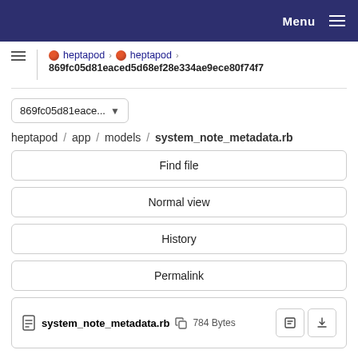Menu
heptapod > heptapod > 869fc05d81eaced5d68ef28e334ae9ece80f74f7
869fc05d81eace...
heptapod / app / models / system_note_metadata.rb
Find file
Normal view
History
Permalink
system_note_metadata.rb  784 Bytes